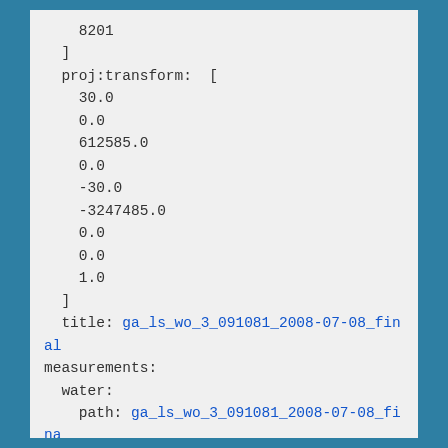8201
  ]
  proj:transform:  [
    30.0
    0.0
    612585.0
    0.0
    -30.0
    -3247485.0
    0.0
    0.0
    1.0
  ]
  title: ga_ls_wo_3_091081_2008-07-08_final
measurements:
  water:
    path: ga_ls_wo_3_091081_2008-07-08_final_water.tif
lineage: